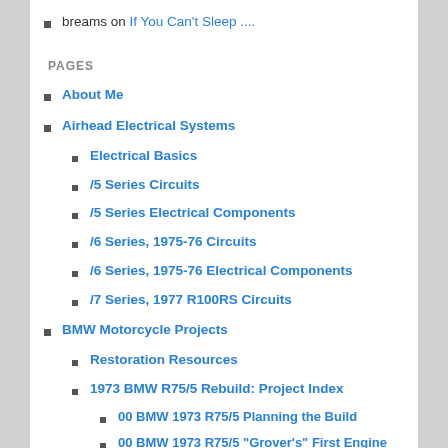breams on If You Can't Sleep ....
PAGES
About Me
Airhead Electrical Systems
Electrical Basics
/5 Series Circuits
/5 Series Electrical Components
/6 Series, 1975-76 Circuits
/6 Series, 1975-76 Electrical Components
/7 Series, 1977 R100RS Circuits
BMW Motorcycle Projects
Restoration Resources
1973 BMW R75/5 Rebuild: Project Index
00 BMW 1973 R75/5 Planning the Build
00 BMW 1973 R75/5 "Grover's" First Engine Start
00 BMW 1973 R75/5 Final Assembly
00 BMW 1973 R75/5 General Teardown
11 BMW 1973 R75/5 Install Engine Top End
11 BMW 1973 R75/5 Install the Engine In the